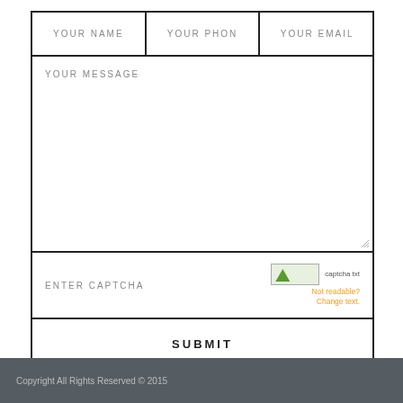[Figure (screenshot): Web contact form with fields: YOUR NAME, YOUR PHON, YOUR EMAIL (top row), YOUR MESSAGE (large text area), ENTER CAPTCHA (with captcha image placeholder and 'Not readable? Change text.' link), and SUBMIT button]
Not readable? Change text.
Copyright All Rights Reserved © 2015